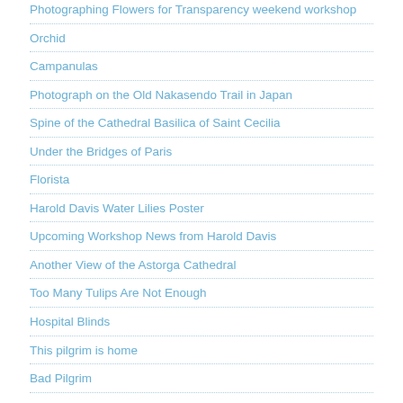Photographing Flowers for Transparency weekend workshop
Orchid
Campanulas
Photograph on the Old Nakasendo Trail in Japan
Spine of the Cathedral Basilica of Saint Cecilia
Under the Bridges of Paris
Florista
Harold Davis Water Lilies Poster
Upcoming Workshop News from Harold Davis
Another View of the Astorga Cathedral
Too Many Tulips Are Not Enough
Hospital Blinds
This pilgrim is home
Bad Pilgrim
Blistered Feet
Palace of Gaudi, Astorga
TRENDING
Clematis in Love